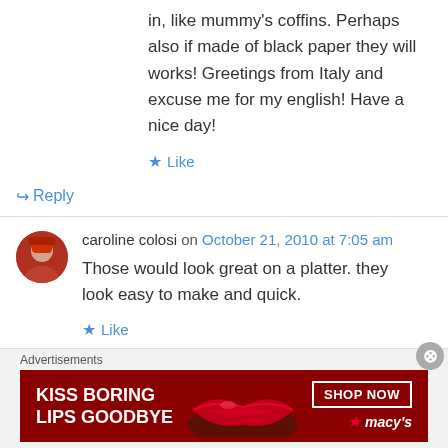in, like mummy's coffins. Perhaps also if made of black paper they will works! Greetings from Italy and excuse me for my english! Have a nice day!
★ Like
↪ Reply
caroline colosi on October 21, 2010 at 7:05 am
Those would look great on a platter. they look easy to make and quick.
★ Like
↪ Reply
Advertisements
[Figure (other): Macy's advertisement banner: KISS BORING LIPS GOODBYE with SHOP NOW button and Macy's star logo]